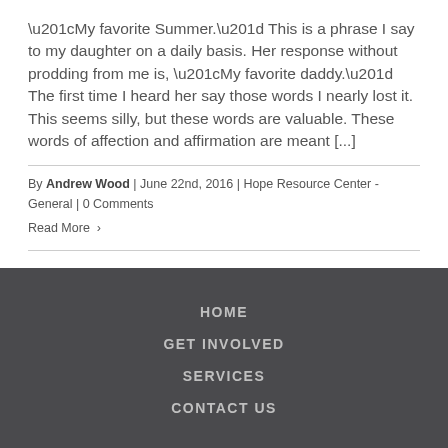“My favorite Summer.” This is a phrase I say to my daughter on a daily basis. Her response without prodding from me is, “My favorite daddy.” The first time I heard her say those words I nearly lost it. This seems silly, but these words are valuable. These words of affection and affirmation are meant [...]
By Andrew Wood | June 22nd, 2016 | Hope Resource Center - General | 0 Comments
Read More >
HOME
GET INVOLVED
SERVICES
CONTACT US